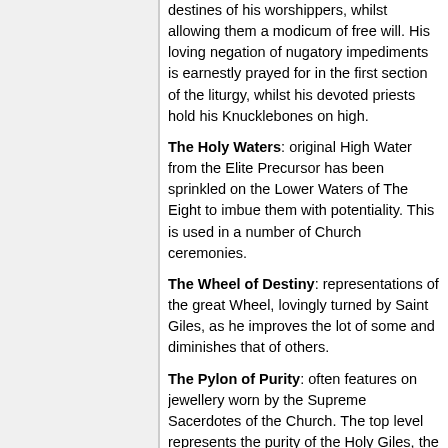destines of his worshippers, whilst allowing them a modicum of free will. His loving negation of nugatory impediments is earnestly prayed for in the first section of the liturgy, whilst his devoted priests hold his Knucklebones on high.
The Holy Waters: original High Water from the Elite Precursor has been sprinkled on the Lower Waters of The Eight to imbue them with potentiality. This is used in a number of Church ceremonies.
The Wheel of Destiny: representations of the great Wheel, lovingly turned by Saint Giles, as he improves the lot of some and diminishes that of others.
The Pylon of Purity: often features on jewellery worn by the Supreme Sacerdotes of the Church. The top level represents the purity of the Holy Giles, the intermediate level represents the purity of the Holy Jens and the bottom level that of their Supreme Sacerdotes.